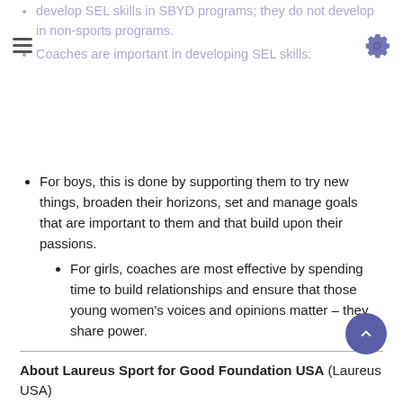develop SEL skills in SBYD programs; they do not develop in non-sports programs.
Coaches are important in developing SEL skills:
For boys, this is done by supporting them to try new things, broaden their horizons, set and manage goals that are important to them and that build upon their passions.
For girls, coaches are most effective by spending time to build relationships and ensure that those young women's voices and opinions matter – they share power.
About Laureus Sport for Good Foundation USA (Laureus USA)
Laureus USA is a non-profit, grant-making organization that works to improve the lives of youth and unite communities through the power of sport. Since 2012, we have impacted the lives of over one million youth by investing $19 million in sports-based youth development organizations around the